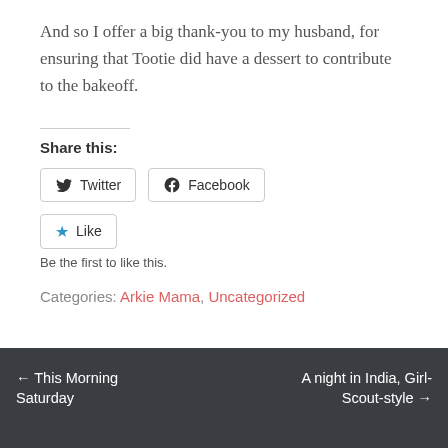And so I offer a big thank-you to my husband, for ensuring that Tootie did have a dessert to contribute to the bakeoff.
Share this:
Twitter  Facebook
Like  Be the first to like this.
Categories: Arkie Mama, Uncategorized
← This Morning Saturday   A night in India, Girl-Scout-style →